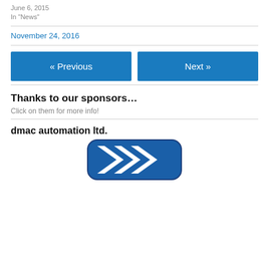June 6, 2015
In "News"
November 24, 2016
« Previous
Next »
Thanks to our sponsors…
Click on them for more info!
dmac automation ltd.
[Figure (logo): dmac automation ltd. logo — blue rounded rectangle with white chevron/arrow shapes]